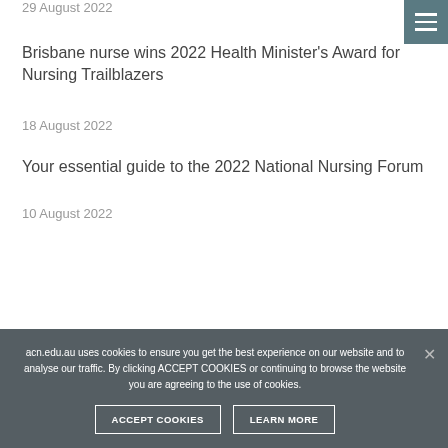29 August 2022
Brisbane nurse wins 2022 Health Minister’s Award for Nursing Trailblazers
18 August 2022
Your essential guide to the 2022 National Nursing Forum
10 August 2022
acn.edu.au uses cookies to ensure you get the best experience on our website and to analyse our traffic. By clicking ACCEPT COOKIES or continuing to browse the website you are agreeing to the use of cookies.
ACCEPT COOKIES
LEARN MORE